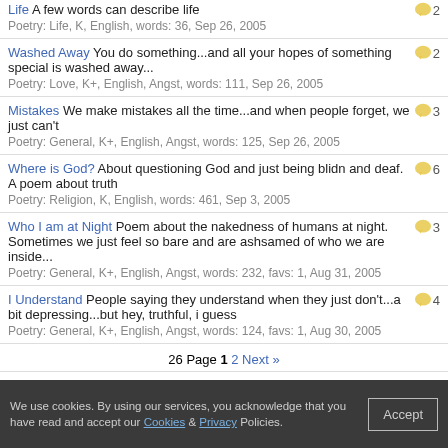Life A few words can describe life
Poetry: Life, K, English, words: 36, Sep 26, 2005 | 2 comments
Washed Away You do something...and all your hopes of something special is washed away...
Poetry: Love, K+, English, Angst, words: 111, Sep 26, 2005 | 2 comments
Mistakes We make mistakes all the time...and when people forget, we just can't
Poetry: General, K+, English, Angst, words: 125, Sep 26, 2005 | 3 comments
Where is God? About questioning God and just being blidn and deaf. A poem about truth
Poetry: Religion, K, English, words: 461, Sep 3, 2005 | 6 comments
Who I am at Night Poem about the nakedness of humans at night. Sometimes we just feel so bare and are ashsamed of who we are inside...
Poetry: General, K+, English, Angst, words: 232, favs: 1, Aug 31, 2005 | 3 comments
I Understand People saying they understand when they just don't...a bit depressing...but hey, truthful, i guess
Poetry: General, K+, English, Angst, words: 124, favs: 1, Aug 30, 2005 | 4 comments
26 Page 1 2 Next »
Author: Follow Favorite Go
We use cookies. By using our services, you acknowledge that you have read and accept our Cookies & Privacy Policies.